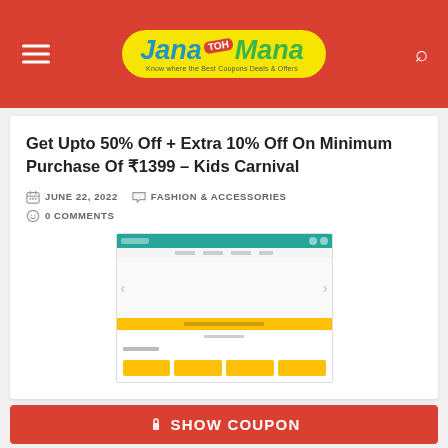[Figure (logo): JanaToh Mana logo — yellow blob shape with blue 'Jana', red badge 'TOH', green 'Mana' in italic, tagline 'Know where the Best Coupons Deals & Offers']
Get Upto 50% Off + Extra 10% Off On Minimum Purchase Of ₹1399 – Kids Carnival
JUNE 22, 2022  FASHION & ACCESSORIES  0 COMMENTS
[Figure (screenshot): Screenshot of an e-commerce website (Pothys or similar) showing a Kids Carnival sale page with teal header, large banner area, yellow promotional strip, and yellow product tiles]
SHOW COUPON